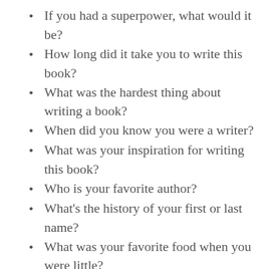If you had a superpower, what would it be?
How long did it take you to write this book?
What was the hardest thing about writing a book?
When did you know you were a writer?
What was your inspiration for writing this book?
Who is your favorite author?
What’s the history of your first or last name?
What was your favorite food when you were little?
What is your favorite food now?
Do you have any unusual or special family traditions?
Do you have any hobbies?